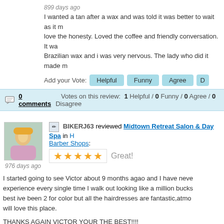899 days ago
I wanted a tan after a wax and was told it was better to wait as it m... love the honesty. Loved the coffee and friendly conversation. It wa... Brazilian wax and i was very nervous. The lady who did it made m...
Add your Vote: Helpful Funny Agree D...
0 comments   Votes on this review:   1 Helpful / 0 Funny / 0 Agree / 0 Disagree
BIKERJ63 reviewed Midtown Retreat Salon & Day Spa in H... Barber Shops:
[Figure (other): 5 star rating with text Great!]
976 days ago
I started going to see Victor about 9 months agao and I have neve... experience every single time I walk out looking like a million bucks... best ive been 2 for color but all the hairdresses are fantastic,atmo... will love this place.

THANKS AGAIN VICTOR YOUR THE BEST!!!!
jACKIE
Add your Vote: Helpful Funny Agree D...
0 comments   Votes on this review:   0 Helpful / 0 Funny / 0 Agree / 0 Disagree
Magsood In reviewed Brompton Shears Hair Works Cuts i...